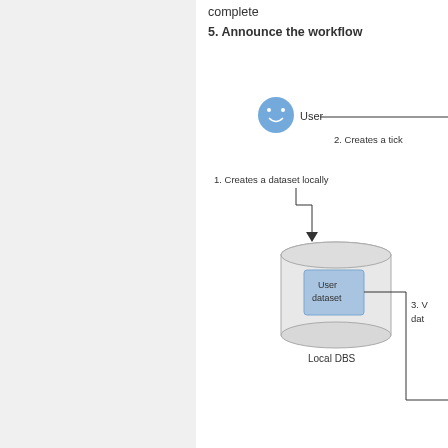complete
5. Announce the workflow
[Figure (flowchart): Diagram showing a user (smiley face icon) labeled 'User' with arrows and steps: 1. Creates a dataset locally (arrow pointing down into a cylinder labeled 'Local DBS' containing a blue box labeled 'User dataset'), 2. Creates a tick... (arrow going right, partially cut off), 3. V... dat... (text partially cut off, with a line going down and right from the User dataset box)]